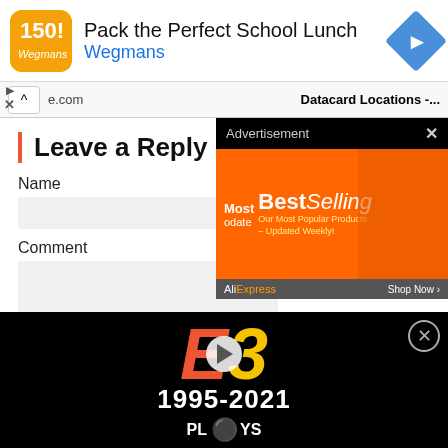[Figure (screenshot): Top ad banner for Wegmans: Pack the Perfect School Lunch with Wegmans logo and blue navigation arrow]
[Figure (screenshot): Navigation bar showing e.com URL and Datacard Locations-... page title with up arrow button]
Leave a Reply
Name
Comment
[Figure (screenshot): Advertisement popup overlay with BestSelling AliExpress orange ad banner and Shop Now button]
[Figure (screenshot): E3 1995-2021 video ad at bottom with play button, PLAYS branding on black background]